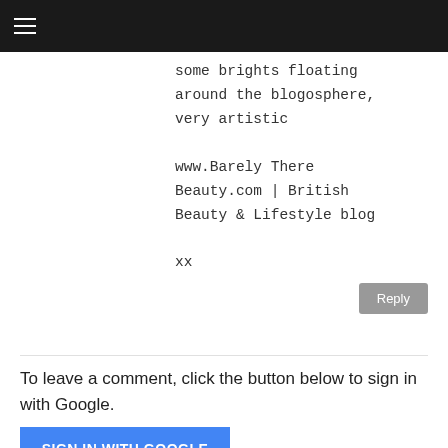≡
some brights floating around the blogosphere, very artistic

www.Barely There Beauty.com | British Beauty & Lifestyle blog

xx
Reply
To leave a comment, click the button below to sign in with Google.
SIGN IN WITH GOOGLE